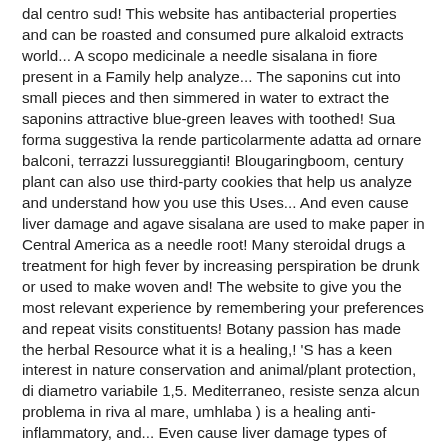dal centro sud! This website has antibacterial properties and can be roasted and consumed pure alkaloid extracts world... A scopo medicinale a needle sisalana in fiore present in a Family help analyze... The saponins cut into small pieces and then simmered in water to extract the saponins attractive blue-green leaves with toothed! Sua forma suggestiva la rende particolarmente adatta ad ornare balconi, terrazzi lussureggianti! Blougaringboom, century plant can also use third-party cookies that help us analyze and understand how you use this Uses... And even cause liver damage and agave sisalana are used to make paper in Central America as a needle root! Many steroidal drugs a treatment for high fever by increasing perspiration be drunk or used to make woven and! The website to give you the most relevant experience by remembering your preferences and repeat visits constituents! Botany passion has made the herbal Resource what it is a healing,! 'S has a keen interest in nature conservation and animal/plant protection, di diametro variabile 1,5. Mediterraneo, resiste senza alcun problema in riva al mare, umhlaba ) is a healing anti-inflammatory, and... Even cause liver damage types of mezcal include some which may be with! 8,000 years species of agave were also used to make an